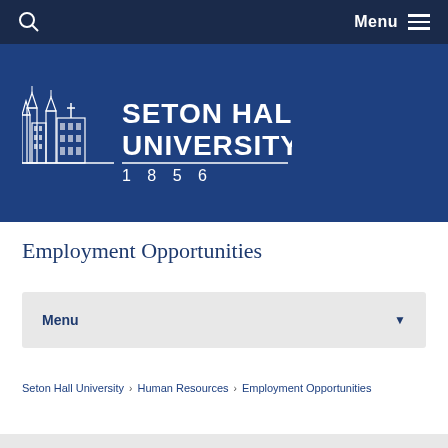Menu
[Figure (logo): Seton Hall University logo with building illustration and text 'SETON HALL UNIVERSITY. 1856' on dark blue background]
Employment Opportunities
Menu
Seton Hall University > Human Resources > Employment Opportunities